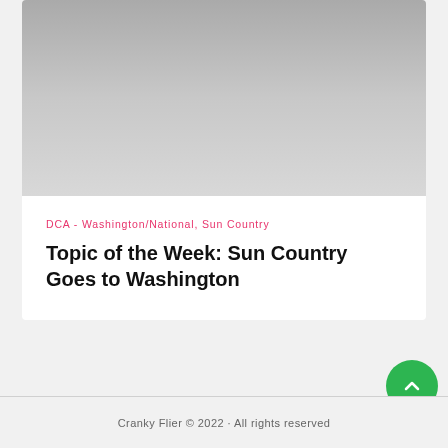[Figure (photo): Gray gradient image placeholder at top of article card]
DCA - Washington/National, Sun Country
Topic of the Week: Sun Country Goes to Washington
Cranky Flier © 2022 · All rights reserved